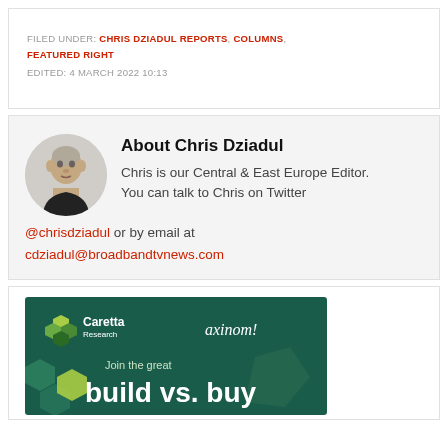FILED UNDER: CHRIS DZIADUL REPORTS, COLUMNS, FEATURED RIGHT
EDITED: 4 MARCH 2022 10:13
About Chris Dziadul
Chris is our Central & East Europe Editor. You can talk to Chris on Twitter @chrisdziadul or by email at cdziadul@broadbandtvnews.com
[Figure (photo): Caretta Research and axinom advertisement banner with text 'Join the great build vs. buy']